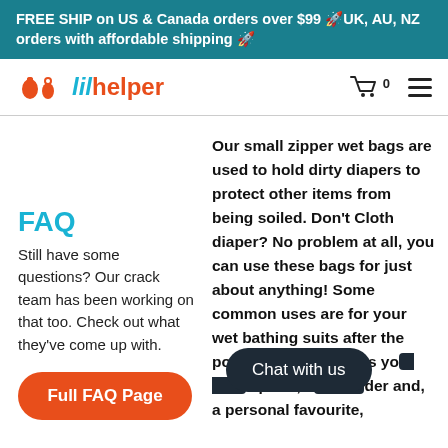FREE SHIP on US & Canada orders over $99 🚀UK, AU, NZ orders with affordable shipping 🚀
[Figure (logo): Lil Helper logo with orange diaper/baby icons and teal 'lil' text with orange 'helper' text]
Our small zipper wet bags are used to hold dirty diapers to protect other items from being soiled. Don't Cloth diaper? No problem at all, you can use these bags for just about anything! Some common uses are for your wet bathing suits after the pool, st...ch as yo...e parts, a...der and, a personal favourite,
FAQ
Still have some questions? Our crack team has been working on that too. Check out what they've come up with.
Full FAQ Page
Chat with us